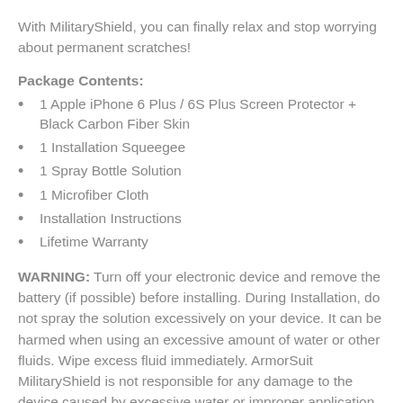With MilitaryShield, you can finally relax and stop worrying about permanent scratches!
Package Contents:
1 Apple iPhone 6 Plus / 6S Plus Screen Protector + Black Carbon Fiber Skin
1 Installation Squeegee
1 Spray Bottle Solution
1 Microfiber Cloth
Installation Instructions
Lifetime Warranty
WARNING: Turn off your electronic device and remove the battery (if possible) before installing. During Installation, do not spray the solution excessively on your device. It can be harmed when using an excessive amount of water or other fluids. Wipe excess fluid immediately. ArmorSuit MilitaryShield is not responsible for any damage to the device caused by excessive water or improper application of the MilitaryShield.